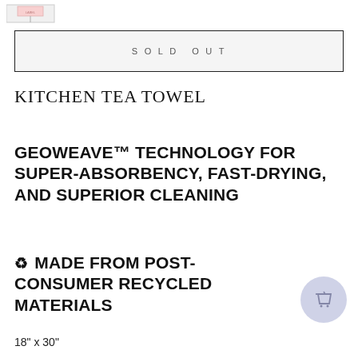[Figure (other): Small product thumbnail image with pink label, partially visible at top left]
SOLD OUT
KITCHEN TEA TOWEL
GEOWEAVE™ TECHNOLOGY FOR SUPER-ABSORBENCY, FAST-DRYING, AND SUPERIOR CLEANING
♻ MADE FROM POST-CONSUMER RECYCLED MATERIALS
18" x 30"